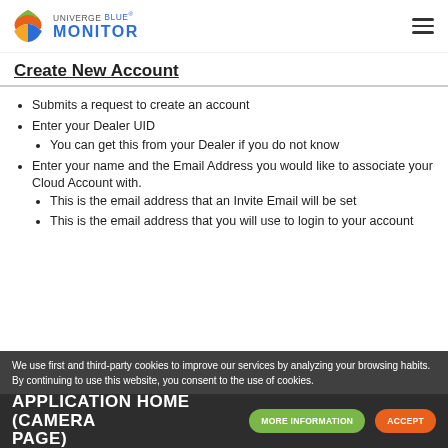UNIVERGE BLUE® MONITOR
Create New Account
Submits a request to create an account
Enter your Dealer UID
You can get this from your Dealer if you do not know
Enter your name and the Email Address you would like to associate your Cloud Account with.
This is the email address that an Invite Email will be set
This is the email address that you will use to login to your account
We use first and third-party cookies to improve our services by analyzing your browsing habits. By continuing to use this website, you consent to the use of cookies.
APPLICATION HOME (CAMERA PAGE)